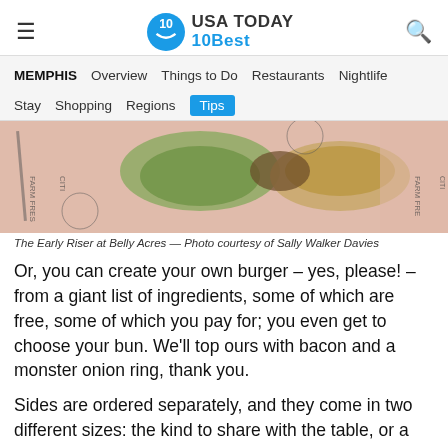USA TODAY 10Best
MEMPHIS  Overview  Things to Do  Restaurants  Nightlife  Stay  Shopping  Regions  Tips
[Figure (photo): Close-up photo of The Early Riser burger at Belly Acres, with lettuce and bread visible on pink Farm Fresh branded paper]
The Early Riser at Belly Acres — Photo courtesy of Sally Walker Davies
Or, you can create your own burger – yes, please! – from a giant list of ingredients, some of which are free, some of which you pay for; you even get to choose your bun. We'll top ours with bacon and a monster onion ring, thank you.
Sides are ordered separately, and they come in two different sizes: the kind to share with the table, or a personal side. Do not miss the fried pickles, which are